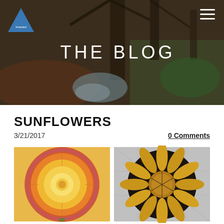[Figure (photo): Hero banner showing a woodland stream with mossy stone wall and bare trees. Overlaid with 'THE BLOG' text, a blue triangle logo in top-left, and a hamburger menu icon in top-right.]
SUNFLOWERS
3/21/2017
0 Comments
[Figure (photo): Left: Circular mandala-style sunflower painting with warm orange/yellow/red tones on a round disc. Right: Stained glass or painted sunflower with golden petals on a dark circular background.]